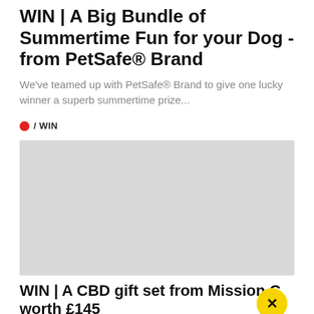WIN | A Big Bundle of Summertime Fun for your Dog - from PetSafe® Brand
We've teamed up with PetSafe® Brand to give one lucky winner a superb summertime prize...
/ WIN
[Figure (photo): Large placeholder image (light gray rectangle) representing a photo for the WIN article]
WIN | A CBD gift set from Mission C worth £145